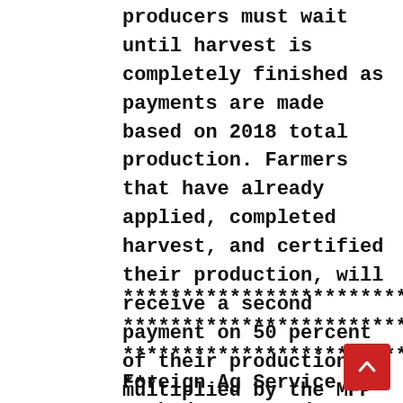producers must wait until harvest is completely finished as payments are made based on 2018 total production. Farmers that have already applied, completed harvest, and certified their production, will receive a second payment on 50 percent of their production, multiplied by the MFP rate for each commodity.
********************************* ********************************* ********************************* ***
Foreign Ag Service Worked to Expand